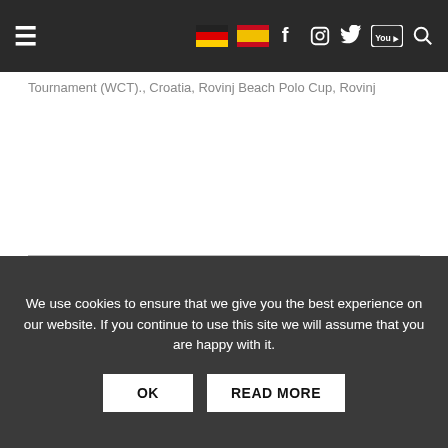Navigation bar with hamburger menu, German and Spanish flags, Facebook, Instagram, Twitter, YouTube, and Search icons
Tournament (WCT)., Croatia, Rovinj Beach Polo Cup, Rovinj
Cartier International China Polo Challenge 2012
New date for the final of the Tortugas Open
We use cookies to ensure that we give you the best experience on our website. If you continue to use this site we will assume that you are happy with it.
OK | READ MORE